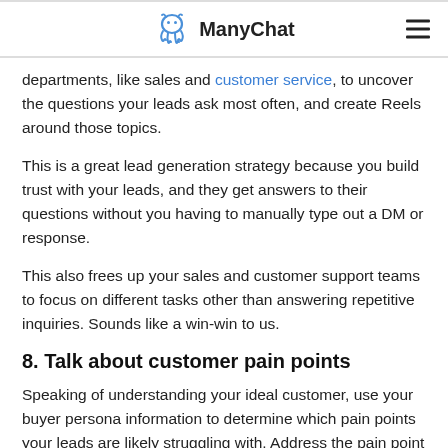ManyChat
departments, like sales and customer service, to uncover the questions your leads ask most often, and create Reels around those topics.
This is a great lead generation strategy because you build trust with your leads, and they get answers to their questions without you having to manually type out a DM or response.
This also frees up your sales and customer support teams to focus on different tasks other than answering repetitive inquiries. Sounds like a win-win to us.
8. Talk about customer pain points
Speaking of understanding your ideal customer, use your buyer persona information to determine which pain points your leads are likely struggling with. Address the pain point as the topic of